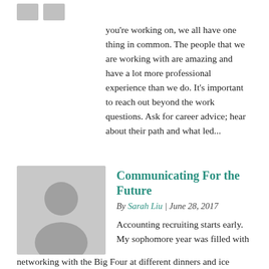[Figure (illustration): Two small grey placeholder image boxes at top left]
you're working on, we all have one thing in common. The people that we are working with are amazing and have a lot more professional experience than we do. It's important to reach out beyond the work questions. Ask for career advice; hear about their path and what led...
[Figure (photo): Grey avatar/silhouette placeholder image for Sarah Liu]
Communicating For the Future
By Sarah Liu | June 28, 2017
Accounting recruiting starts early. My sophomore year was filled with networking with the Big Four at different dinners and ice cream socials. Now that I'm participating in two sophomore leadership programs, it's hitting me that they want me to decide on my service industry very soon. I just returned from EY's Los Angeles Emerging Leadership...